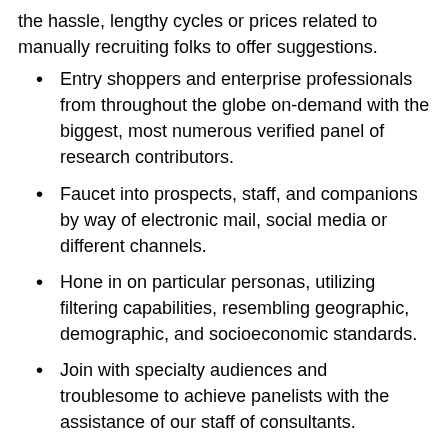the hassle, lengthy cycles or prices related to manually recruiting folks to offer suggestions.
Entry shoppers and enterprise professionals from throughout the globe on-demand with the biggest, most numerous verified panel of research contributors.
Faucet into prospects, staff, and companions by way of electronic mail, social media or different channels.
Hone in on particular personas, utilizing filtering capabilities, resembling geographic, demographic, and socioeconomic standards.
Join with specialty audiences and troublesome to achieve panelists with the assistance of our staff of consultants.
Make sure you obtain the best high quality suggestions to tell your CX efforts with UserTesting's verified and vetted 1st social gathering shopper and enterprise skilled panel.